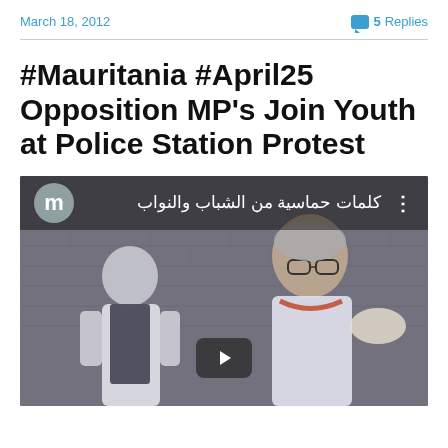March 18, 2012   💬 5 Replies
#Mauritania #April25 Opposition MP's Join Youth at Police Station Protest
[Figure (screenshot): Video thumbnail showing two men at a protest, with Arabic text overlay reading 'كلمات حماسية من الشباب والنواب' and a channel icon with letter 'm', play button in center]